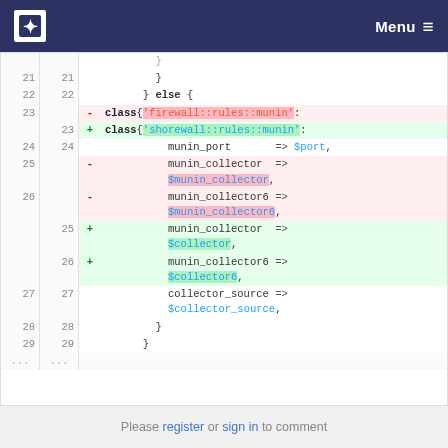Menu
[Figure (screenshot): Code diff view showing changes to Puppet/Ruby code. Lines 21-29 with context, deletions (red background) on lines 23, 25-26 showing 'firewall::rules::munin' and '$munin_collector'/'$munin_collector6', additions (green background) on lines 23, 25-26 showing 'shorewall::rules::munin' and '$collector'/'$collector6'.]
Please register or sign in to comment